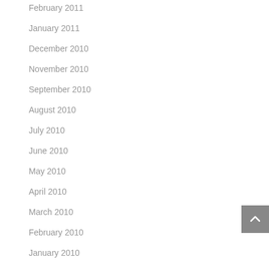February 2011
January 2011
December 2010
November 2010
September 2010
August 2010
July 2010
June 2010
May 2010
April 2010
March 2010
February 2010
January 2010
December 2009
November 2009